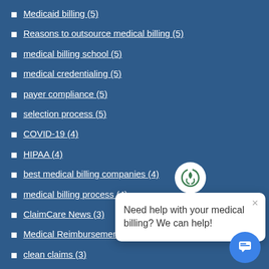Medicaid billing (5)
Reasons to outsource medical billing (5)
medical billing school (5)
medical credentialing (5)
payer compliance (5)
selection process (5)
COVID-19 (4)
HIPAA (4)
best medical billing companies (4)
medical billing process (4)
ClaimCare News (3)
Medical Reimbursement (3)
clean claims (3)
coding questions (3)
communication (3)
orthopedic billing (3)
[Figure (infographic): Chat popup widget with ClaimCare logo, close button, and message 'Need help with your medical billing? We can help!', plus a blue circular chat button in the bottom right corner.]